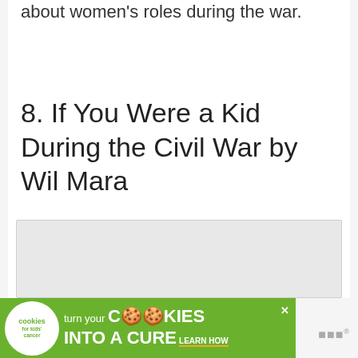about women's roles during the war.
8. If You Were a Kid During the Civil War by Wil Mara
[Figure (other): Light gray rectangular image placeholder for book cover or related illustration]
[Figure (other): Advertisement banner: 'cookies for kids cancer — turn your COOKIES into a CURE LEARN HOW' on green background with white circle logo]